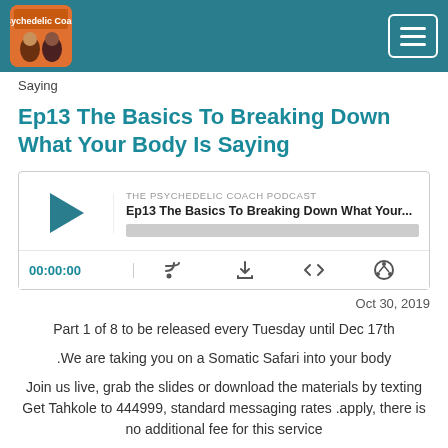The Psychedelic Coach Podcast navigation bar
Saying
Ep13 The Basics To Breaking Down What Your Body Is Saying
[Figure (screenshot): Podcast audio player widget showing THE PSYCHEDELIC COACH PODCAST episode Ep13 The Basics To Breaking Down What Your... with play button, progress bar, time display 00:00:00, and controls for cast, download, embed, and share.]
Oct 30, 2019
Part 1 of 8 to be released every Tuesday until Dec 17th
.We are taking you on a Somatic Safari into your body
Join us live, grab the slides or download the materials by texting Get Tahkole to 444999, standard messaging rates .apply, there is no additional fee for this service